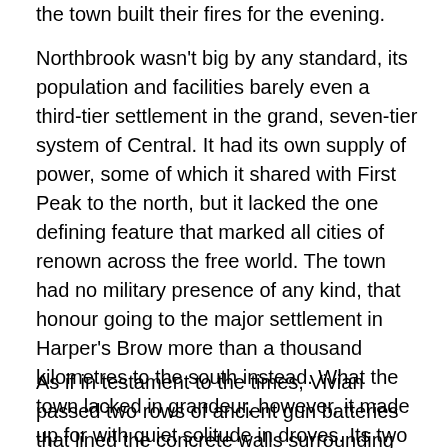the town built their fires for the evening.
Northbrook wasn't big by any standard, its population and facilities barely even a third-tier settlement in the grand, seven-tier system of Central. It had its own supply of power, some of which it shared with First Peak to the north, but it lacked the one defining feature that marked all cities of renown across the free world. The town had no military presence of any kind, that honour going to the major settlement in Harper's Brow more than a thousand kilometres to the south instead. What the town lacked in grandeur, however, it made up for with quiet solitude in droves. Its two greatest qualities were its seclusion and the long, blank pages that marked the time between events of note in its history, and its residents took as much advantage of them as they could.
As if in testament to the times, Vivian passed two rows of ancient gun batteries that lined the concrete walls surrounding the southern approach to the city as she ran down the main